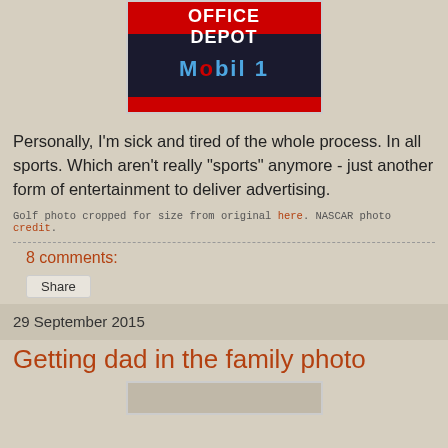[Figure (photo): NASCAR racing jacket showing Office Depot and Mobil 1 sponsorship logos on a dark background with red trim]
Personally, I'm sick and tired of the whole process.  In all sports.  Which aren't really "sports" anymore - just another form of entertainment to deliver advertising.
Golf photo cropped for size from original here.  NASCAR photo credit.
8 comments:
Share
29 September 2015
Getting dad in the family photo
[Figure (photo): Partial view of a photo at bottom of page, cut off]